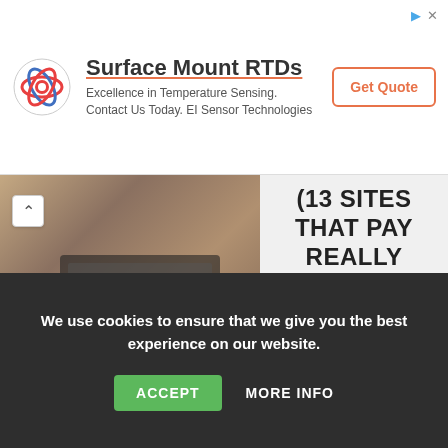[Figure (other): Advertisement banner for EI Sensor Technologies: Surface Mount RTDs with logo, tagline 'Excellence in Temperature Sensing. Contact Us Today. EI Sensor Technologies', and a 'Get Quote' button.]
[Figure (photo): Photo of a woman with auburn hair working on a laptop, paired with bold text '(13 SITES THAT PAY REALLY WELL)' on a light background, with a dark footer bar reading 'DOLLARCREED.COM']
Remote Data Entry Jobs (13 Sites That Pay Really
We use cookies to ensure that we give you the best experience on our website.
ACCEPT   MORE INFO